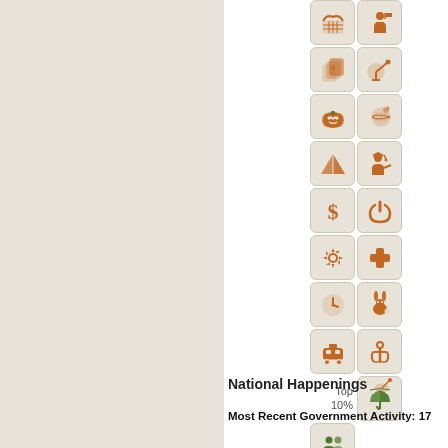[Figure (infographic): Grid of orange/brown icon buttons arranged in two columns: basket, person, playing cards, satellite dish, pumpkin, ball/planet, pyramid/tent, graduation cap person, dollar sign, power button, gear/cog, medical cross, clock, rabbit, train, anchor, umbrella (green, Top 10%), two people (green)]
Top 10%
National Happenings
Most Recent Government Activity: 17